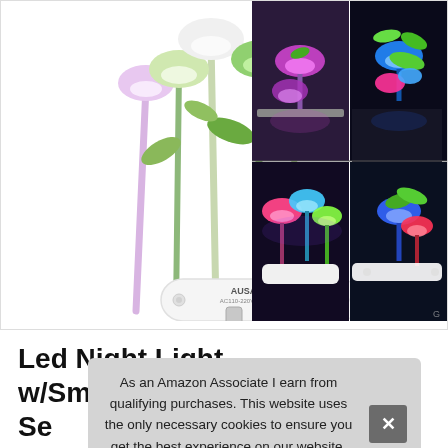[Figure (photo): Product photo of an LED mushroom night light plug-in lamp (AUSAYE brand, AC110-220V 50/60Hz) showing colorful glowing mushroom-shaped LED lights with green stems on a white base with electrical plug prongs. Right side shows a 2x2 collage of the same lamp in different color modes (purple/pink/magenta, blue/teal, and multicolor).]
Led Night Light w/Smart Se... Lig... Ni...
As an Amazon Associate I earn from qualifying purchases. This website uses the only necessary cookies to ensure you get the best experience on our website. More information